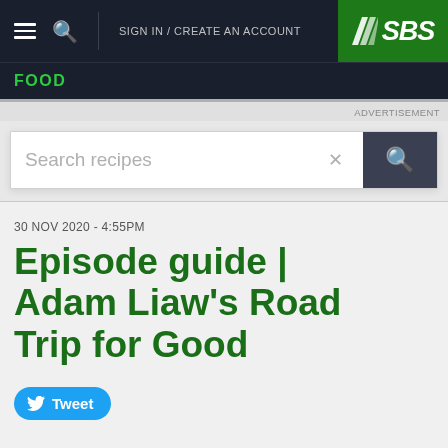SIGN IN / CREATE AN ACCOUNT
FOOD
ADVERTISEMENT
Search recipes
30 NOV 2020 - 4:55PM
Episode guide | Adam Liaw's Road Trip for Good
Tweet